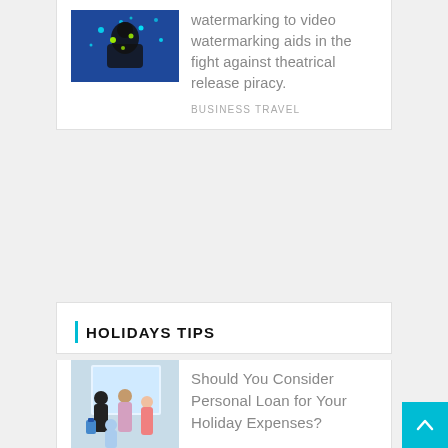[Figure (photo): Person in dark hoodie with blue glowing light background, suggesting hacker or piracy theme]
watermarking to video watermarking aids in the fight against theatrical release piracy.
BUSINESS TRAVEL
HOLIDAYS TIPS
[Figure (photo): Family with luggage at an airport or travel setting]
Should You Consider Personal Loan for Your Holiday Expenses?